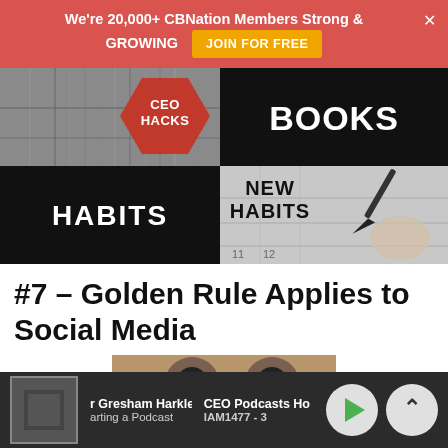We're 20,000+ CBNation Members Strong & GROWING  JOIN FOR FREE
[Figure (illustration): CEO Hacks promotional banner image with quadrants: bookshelf background with red hexagon labeled 'CEO HACKS', black panel with 'BOOKS', black panel with 'HABITS', and calendar with pen labeled 'NEW HABITS']
#7 – Golden Rule Applies to Social Media
[Figure (photo): Partial thumbnail image of an owl-like figure with large eyes]
Gresham Harkless  CEO Podcasts Ho  |  tarting a Podcast  IAM1477 - 3